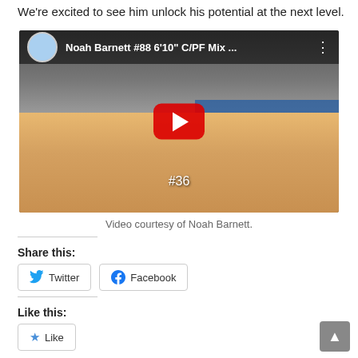We're excited to see him unlock his potential at the next level.
[Figure (screenshot): YouTube video thumbnail showing Noah Barnett #88 6'10" C/PF Mix basketball highlight video. A basketball game scene with players on an indoor court, YouTube play button overlay, and player profile picture in top left. Number #36 overlay at bottom center.]
Video courtesy of Noah Barnett.
Share this:
Twitter
Facebook
Like this:
Like